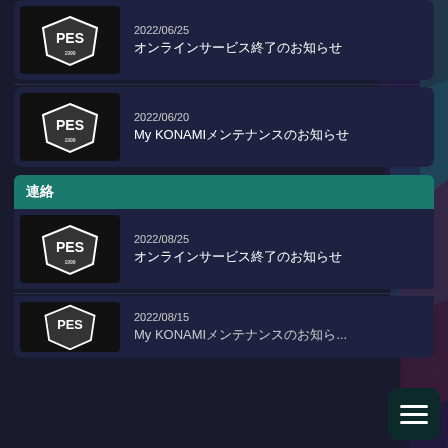[Figure (screenshot): PES/eFootball shield logo thumbnail (black background)]
2022/06/25 オンラインサービス終了のお知らせ
[Figure (screenshot): PES/eFootball shield logo thumbnail (black background)]
2022/06/20 My KONAMIメンテナンスのお知らせ
連絡
[Figure (screenshot): PES/eFootball shield logo thumbnail (black background)]
2022/08/25 オンラインサービス終了のお知らせ
[Figure (screenshot): PES/eFootball shield logo thumbnail partial (black background)]
2022/08/15 My KONAMIメンテナンスのお知らせ